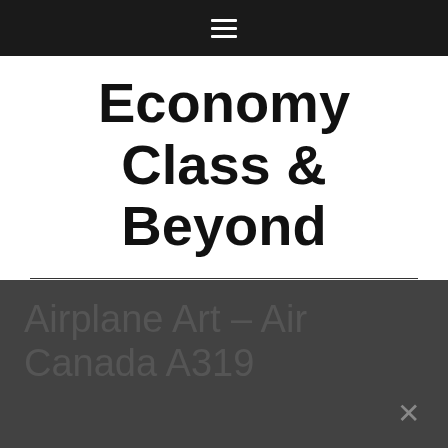☰
Economy Class & Beyond
Airplane Art – Air Canada A319